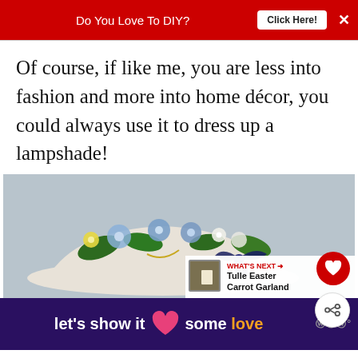Do You Love To DIY?  Click Here!  ×
Of course, if like me, you are less into fashion and more into home décor, you could always use it to dress up a lampshade!
[Figure (photo): A decorated lampshade with blue, white, and yellow flowers and a navy blue organza ribbon bow. Inset shows 'WHAT'S NEXT → Tulle Easter Carrot Garland' thumbnail.]
[Figure (screenshot): Advertisement banner with purple background reading 'let's show it some love' with a pink heart icon and a logo on the right.]